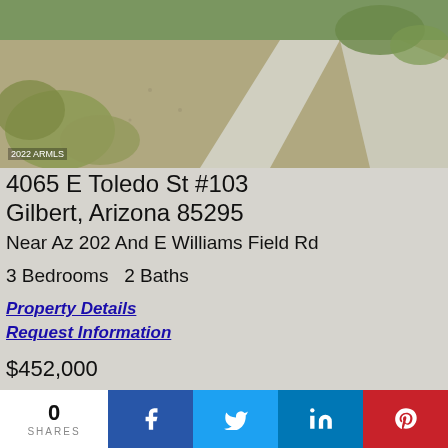[Figure (photo): Aerial/street view of a desert landscaped property with gravel, ornamental grasses, and a concrete driveway. Watermark reads '2022 ARMLS'.]
4065 E Toledo St #103
Gilbert, Arizona 85295
Near Az 202 And E Williams Field Rd
3 Bedrooms   2 Baths
Property Details
Request Information
$452,000
Townhouse
0 SHARES